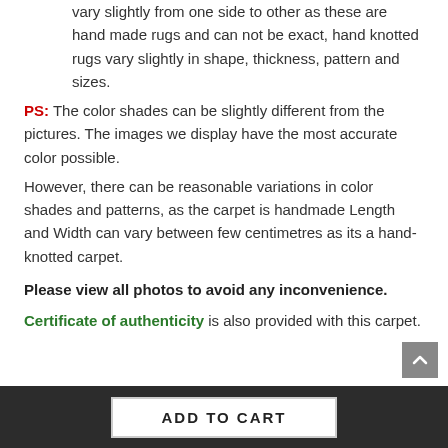vary slightly from one side to other as these are hand made rugs and can not be exact, hand knotted rugs vary slightly in shape, thickness, pattern and sizes.
PS: The color shades can be slightly different from the pictures. The images we display have the most accurate color possible.
However, there can be reasonable variations in color shades and patterns, as the carpet is handmade Length and Width can vary between few centimetres as its a hand-knotted carpet.
Please view all photos to avoid any inconvenience.
Certificate of authenticity is also provided with this carpet.
ADD TO CART